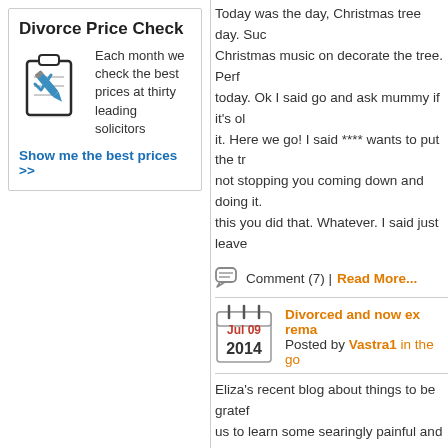[Figure (logo): Divorce Price Check ad box with clipboard/pen icon]
Today was the day, Christmas tree day. Suc Christmas music on decorate the tree. Perf today. Ok I said go and ask mummy if it's ol it. Here we go! I said **** wants to put the t not stopping you coming down and doing it. this you did that. Whatever. I said just leave
Comment (7) | Read More...
[Figure (other): Calendar icon showing Jul 09 2014]
Divorced and now ex rema
Posted by Vastra1 in the go
Eliza's recent blog about things to be gratef us to learn some searingly painful and unw hairdressers during the week, flipping throu are they still famous and who cares?!) Para and agonised dissection of the marriage br his second life with probably very little thou
Comment (13) | Read More...
<< Start < Prev
Latest Blog Comments
sun flower said: '[i] a few extra pounds s